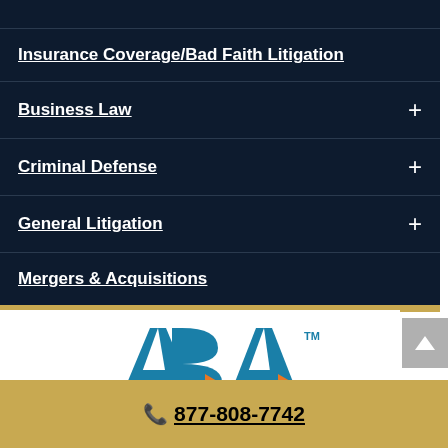Insurance Coverage/Bad Faith Litigation
Business Law
Criminal Defense
General Litigation
Mergers & Acquisitions
[Figure (logo): ABA logo with teal and orange accent arrows and TM mark]
877-808-7742